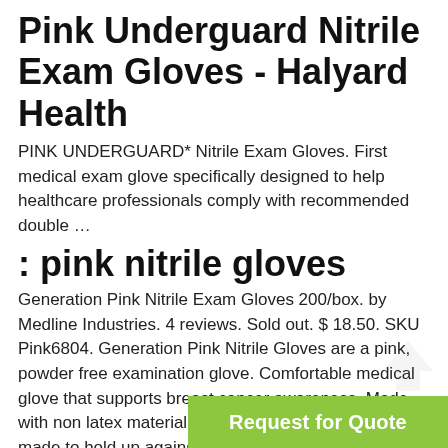Pink Underguard Nitrile Exam Gloves - Halyard Health
PINK UNDERGUARD* Nitrile Exam Gloves. First medical exam glove specifically designed to help healthcare professionals comply with recommended double …
: pink nitrile gloves
Generation Pink Nitrile Exam Gloves 200/box. by Medline Industries. 4 reviews. Sold out. $ 18.50. SKU Pink6804. Generation Pink Nitrile Gloves are a pink, powder free examination glove. Comfortable medical glove that supports breast cancer awareness. Made with non latex material that is puncture-resistant and made to hold up against chemicals.
Nitrile Examination Pearly Pink Gloves - Medical Latex Sdn …
-5-13 · The fantastic pink color of the gloves soothes the mood of users. Nitrile latex is long-lasting. It also passes the biocompatibility tests. It is environment …
Medline Generation Pink Nitrile Exam Glo…